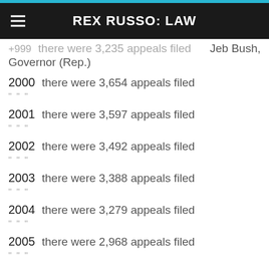REX RUSSO: LAW
1999   there were 3,235 appeals filed   Jeb Bush, Governor (Rep.)
2000   there were 3,654 appeals filed
2001   there were 3,597 appeals filed
2002   there were 3,492 appeals filed
2003   there were 3,388 appeals filed
2004   there were 3,279 appeals filed
2005   there were 2,968 appeals filed
2006   there were 3,201 appeals filed
2007   there were 3,335 appeals filed   Charlie Crist, Governor (Rep.)